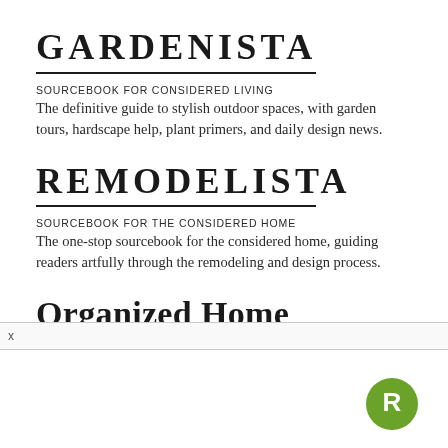GARDENISTA
SOURCEBOOK FOR CONSIDERED LIVING
The definitive guide to stylish outdoor spaces, with garden tours, hardscape help, plant primers, and daily design news.
REMODELISTA
SOURCEBOOK FOR THE CONSIDERED HOME
The one-stop sourcebook for the considered home, guiding readers artfully through the remodeling and design process.
Organized Home
[Figure (logo): Green circle with white letter R logo]